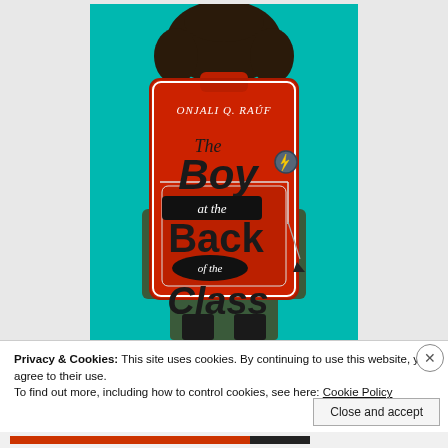[Figure (illustration): Book cover of 'The Boy at the Back of the Class' by Onjali Q. Raúf. Shows the back view of a child wearing a large red backpack with the book title written on it in bold black hand-lettered text. The background is bright teal/turquoise. The child has dark hair. A lightning bolt badge and star charm are on the backpack. The author name appears at the top of the backpack in white text.]
Privacy & Cookies: This site uses cookies. By continuing to use this website, you agree to their use.
To find out more, including how to control cookies, see here: Cookie Policy
Close and accept